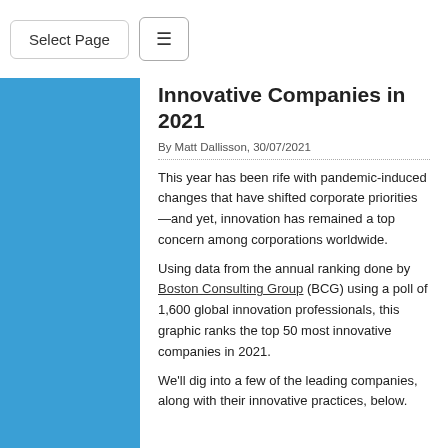Select Page
Innovative Companies in 2021
By Matt Dallisson, 30/07/2021
This year has been rife with pandemic-induced changes that have shifted corporate priorities—and yet, innovation has remained a top concern among corporations worldwide.
Using data from the annual ranking done by Boston Consulting Group (BCG) using a poll of 1,600 global innovation professionals, this graphic ranks the top 50 most innovative companies in 2021.
We'll dig into a few of the leading companies, along with their innovative practices, below.